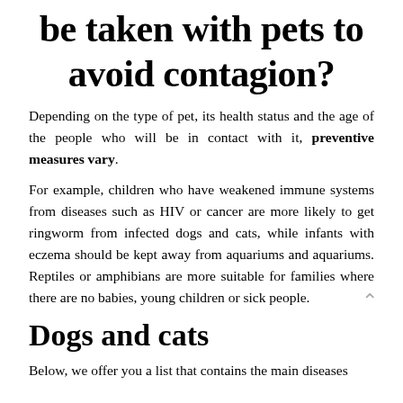be taken with pets to avoid contagion?
Depending on the type of pet, its health status and the age of the people who will be in contact with it, preventive measures vary.
For example, children who have weakened immune systems from diseases such as HIV or cancer are more likely to get ringworm from infected dogs and cats, while infants with eczema should be kept away from aquariums and aquariums. Reptiles or amphibians are more suitable for families where there are no babies, young children or sick people.
Dogs and cats
Below, we offer you a list that contains the main diseases